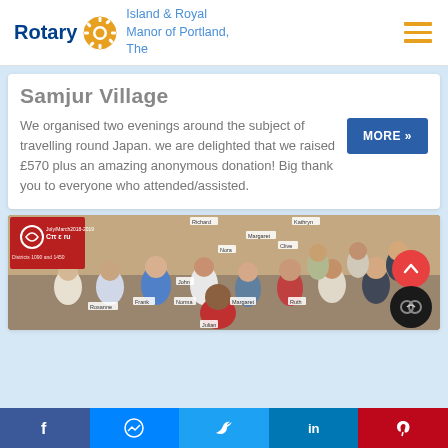Rotary | Island & Royal Manor of Portland, The
Samjur Village
We organised two evenings around the subject of travelling round Japan. we are delighted that we raised £570 plus an amazing anonymous donation! Big thank you to everyone who attended/assisted.
[Figure (photo): Group photo of Rotary club members holding a Peru Operation Wallacea banner, with name labels: Norma, Rosanne, Frank, John, Margaret, Richard, Margaret, Nora, Clive, Kathryn, Ruth]
Facebook | Messenger | Twitter | LinkedIn | Pinterest